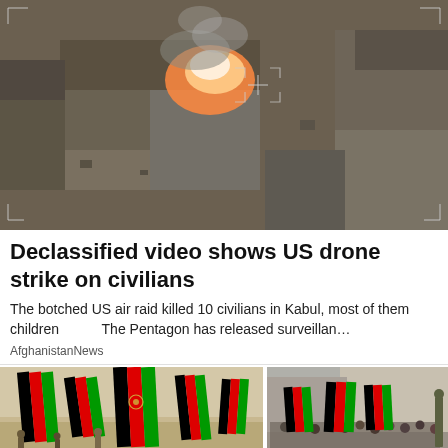[Figure (photo): Aerial drone surveillance footage showing rooftops of buildings with fire and smoke visible, likely from a drone strike. Image appears thermal/military camera style.]
Declassified video shows US drone strike on civilians
The botched US air raid killed 10 civilians in Kabul, most of them children      The Pentagon has released surveillan…
AfghanistanNews
[Figure (photo): Photo showing crowds of people holding Afghan national flags (black, red, green with emblem) during what appears to be a protest or gathering, with two separate scene panels side by side.]